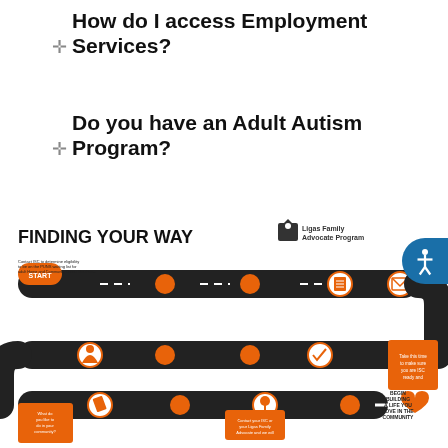How do I access Employment Services?
Do you have an Adult Autism Program?
[Figure (infographic): FINDING YOUR WAY - Ligas Family Advocate Program flowchart showing steps from START through eligibility determination, PLUNS waitlist, ISC planning, notifications, clinical evaluation, provider selection, planning process, building a life in the community. Includes road-map style diagram with orange circles and arrows.]